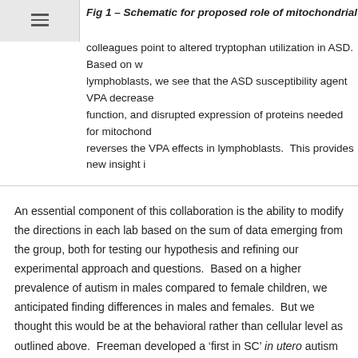Fig 1 – Schematic for proposed role of mitochondrial respiration in
colleagues point to altered tryptophan utilization in ASD.  Based on w lymphoblasts, we see that the ASD susceptibility agent VPA decrease function, and disrupted expression of proteins needed for mitochond reverses the VPA effects in lymphoblasts.  This provides new insight i
An essential component of this collaboration is the ability to modify the directions in each lab based on the sum of data emerging from the group, both for testing our hypothesis and refining our experimental approach and questions.  Based on a higher prevalence of autism in males compared to female children, we anticipated finding differences in males and females.  But we thought this would be at the behavioral rather than cellular level as outlined above.  Freeman developed a ‘first in SC’ in utero autism model with VPA exposure to test the behaviorally outcomes of